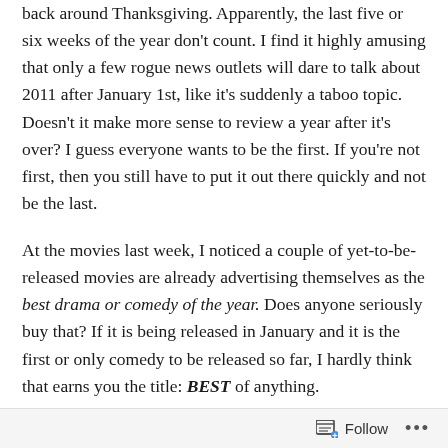back around Thanksgiving. Apparently, the last five or six weeks of the year don't count. I find it highly amusing that only a few rogue news outlets will dare to talk about 2011 after January 1st, like it's suddenly a taboo topic. Doesn't it make more sense to review a year after it's over? I guess everyone wants to be the first. If you're not first, then you still have to put it out there quickly and not be the last.
At the movies last week, I noticed a couple of yet-to-be-released movies are already advertising themselves as the best drama or comedy of the year. Does anyone seriously buy that? If it is being released in January and it is the first or only comedy to be released so far, I hardly think that earns you the title: BEST of anything.
I've heard a number of friends say, "2011 was the worst
Follow ...